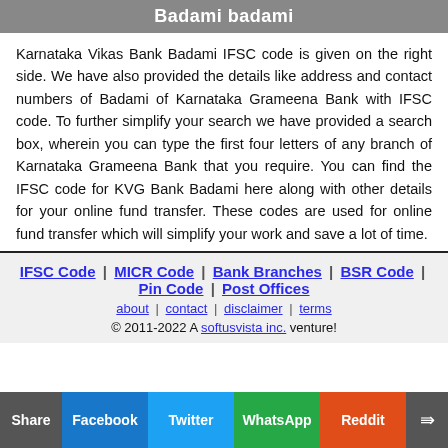Badami badami
Karnataka Vikas Bank Badami IFSC code is given on the right side. We have also provided the details like address and contact numbers of Badami of Karnataka Grameena Bank with IFSC code. To further simplify your search we have provided a search box, wherein you can type the first four letters of any branch of Karnataka Grameena Bank that you require. You can find the IFSC code for KVG Bank Badami here along with other details for your online fund transfer. These codes are used for online fund transfer which will simplify your work and save a lot of time.
IFSC Code | MICR Code | Bank Branches | BSR Code | Pin Code | Post Offices
about | contact | disclaimer | terms
© 2011-2022 A softusvista inc. venture!